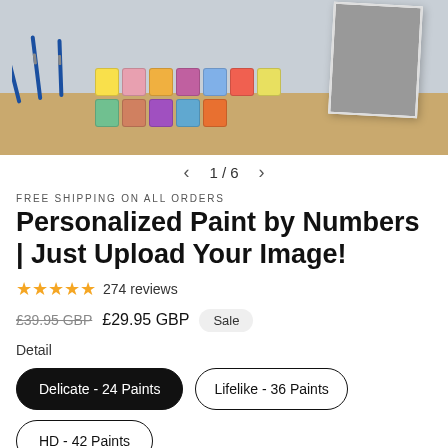[Figure (photo): Product photo showing paint brushes, colorful paint jars on a wooden desk, and a black-and-white photo in the corner. Image navigation showing 1/6.]
FREE SHIPPING ON ALL ORDERS
Personalized Paint by Numbers | Just Upload Your Image!
★★★★★ 274 reviews
£39.95 GBP  £29.95 GBP  Sale
Detail
Delicate - 24 Paints
Lifelike - 36 Paints
HD - 42 Paints